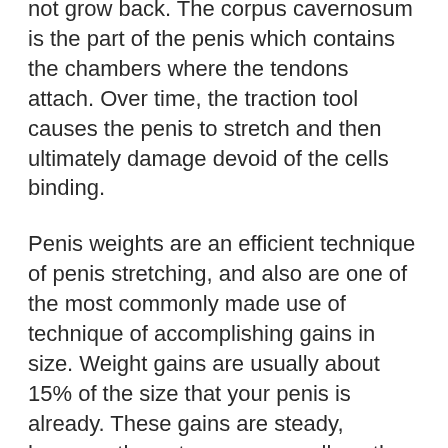not grow back. The corpus cavernosum is the part of the penis which contains the chambers where the tendons attach. Over time, the traction tool causes the penis to stretch and then ultimately damage devoid of the cells binding.
Penis weights are an efficient technique of penis stretching, and also are one of the most commonly made use of technique of accomplishing gains in size. Weight gains are usually about 15% of the size that your penis is already. These gains are steady, however the outcomes are well worth the wait. It takes a bit much longer for the gains to come to be visible. As long as you utilize the weights correctly, you will see steady gains in size in time.